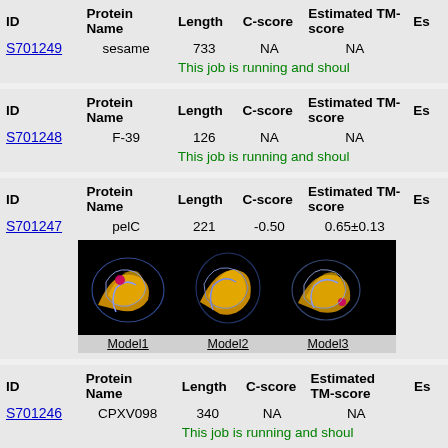| ID | Protein Name | Length | C-score | Estimated TM-score | Es... |
| --- | --- | --- | --- | --- | --- |
| S701249 | sesame | 733 | NA | NA |  |
This job is running and shoul...
| ID | Protein Name | Length | C-score | Estimated TM-score | Es... |
| --- | --- | --- | --- | --- | --- |
| S701248 | F-39 | 126 | NA | NA |  |
This job is running and shoul...
| ID | Protein Name | Length | C-score | Estimated TM-score | Es... |
| --- | --- | --- | --- | --- | --- |
| S701247 | pelC | 221 | -0.50 | 0.65±0.13 |  |
[Figure (photo): Three protein structure model images (Model1, Model2, Model3) on black backgrounds showing yellow/gold beta-sheet protein structures]
| ID | Protein Name | Length | C-score | Estimated TM-score | Es... |
| --- | --- | --- | --- | --- | --- |
| S701246 | CPXV098 | 340 | NA | NA |  |
This job is running and shoul...
| ID | Protein Name | Length | C-score | Estimated TM-score | Es... |
| --- | --- | --- | --- | --- | --- |
| S701245 | ... | ... | NA | NA |  |